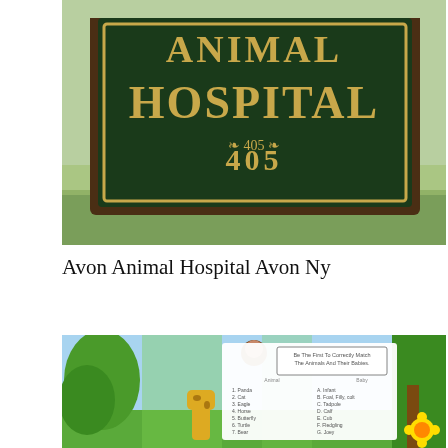[Figure (photo): Outdoor sign reading 'ANIMAL HOSPITAL 405' in gold text on a dark green background with decorative border, brown wooden post frame, grass and sky in background.]
Avon Animal Hospital Avon Ny
[Figure (photo): Colorful educational worksheet with jungle/safari theme showing a matching activity: 'Be The First To Correctly Match The Animals And Their Babies.' Left column lists animals (1. Panda, 2. Cat, 3. Eagle, 4. Horse, 5. Butterfly, 6. Turtle, 7. Bear, 8. Salmon, 9. Deer, 10. Kangaroo, 11. Turkey, 12. Fish, 13. Trout...) and right column lists baby names (A. Infant, B. Foal, Filly, colt, C. Tadpole, D. Calf, E. Cub, F. Fledgling, G. Joey, H. Peacock, I. Eaglet, J. Fry, Fingerling, K. Kid, Lilly, L. Lamb...). Decorative cartoon animals including monkey, giraffe, butterfly, and tropical plants surround the worksheet.]